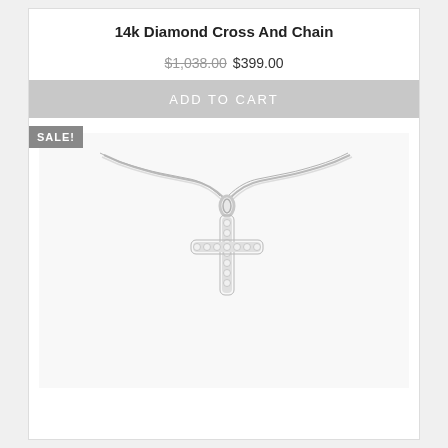14k Diamond Cross And Chain
$1,038.00 $399.00
ADD TO CART
[Figure (photo): A 14k white gold diamond cross pendant on a twisted white gold chain against a white background. The cross is set with small round diamonds along its arms. A 'SALE!' badge appears in the top left corner.]